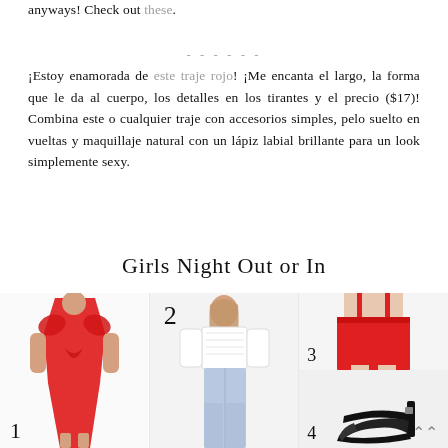anyways! Check out these.
¡Estoy enamorada de este traje rojo! ¡Me encanta el largo, la forma que le da al cuerpo, los detalles en los tirantes y el precio ($17)! Combina este o cualquier traje con accesorios simples, pelo suelto en vueltas y maquillaje natural con un lápiz labial brillante para un look simplemente sexy.
Girls Night Out or In
[Figure (photo): Red ruffled cold-shoulder dress on a model, labeled 1]
[Figure (photo): Woman in white long-sleeve top and light blue jeans, labeled 2]
[Figure (photo): Red mini skirt on model, labeled 3]
[Figure (photo): Black high heel strappy sandal, labeled 4]